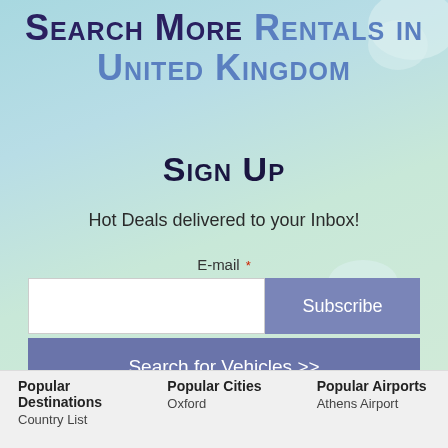Search More Rentals in United Kingdom
Sign Up
Hot Deals delivered to your Inbox!
E-mail *
Subscribe
Search for Vehicles >>
Popular Destinations
Popular Cities
Popular Airports
Country List
Oxford
Athens Airport